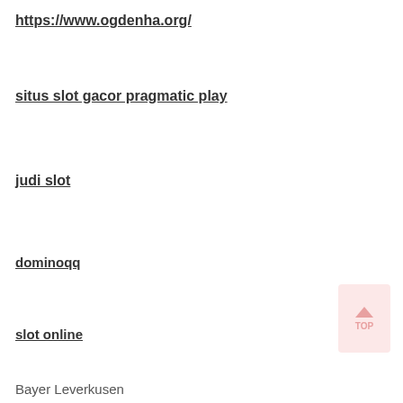https://www.ogdenha.org/
situs slot gacor pragmatic play
judi slot
dominoqq
slot online
Bayer Leverkusen